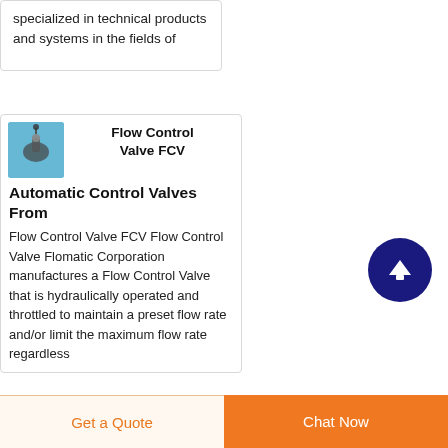specialized in technical products and systems in the fields of
[Figure (photo): Small product thumbnail image of a flow control valve on a light blue background]
Flow Control Valve FCV
Automatic Control Valves From
Flow Control Valve FCV Flow Control Valve Flomatic Corporation manufactures a Flow Control Valve that is hydraulically operated and throttled to maintain a preset flow rate and/or limit the maximum flow rate regardless
[Figure (other): Dark blue circular scroll-to-top button with upward arrow icon]
Get a Quote   Chat Now